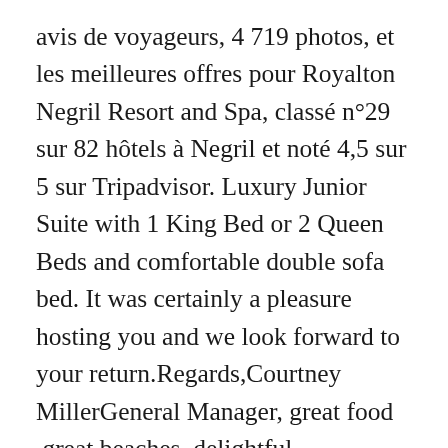avis de voyageurs, 4 719 photos, et les meilleures offres pour Royalton Negril Resort and Spa, classé n°29 sur 82 hôtels à Negril et noté 4,5 sur 5 sur Tripadvisor. Luxury Junior Suite with 1 King Bed or 2 Queen Beds and comfortable double sofa bed. It was certainly a pleasure hosting you and we look forward to your return.Regards,Courtney MillerGeneral Manager, great food ,great beaches ,delightful staff....would hate to go anywhere else again but here......the buffet was great....lots of different items to choose from. Full bathroom with separated toilet, 2 washbowls and indoor Whirlpool. Swim out Suite - WORTH It!! Book Royalton Negril, Negril on Tripadvisor: See 4,227 traveller reviews, 4,700 candid photos, and